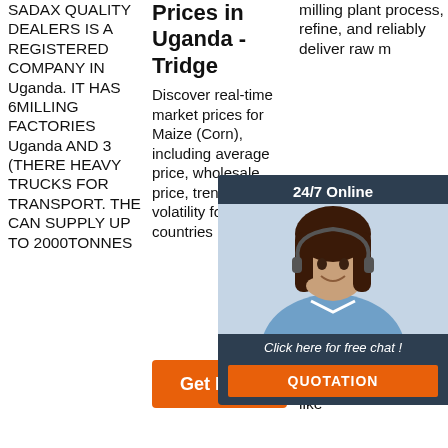SADAX QUALITY DEALERS IS A REGISTERED COMPANY IN Uganda. IT HAS 6MILLING FACTORIES Uganda AND 3 (THERE HEAVY TRUCKS FOR TRANSPORT. THE CAN SUPPLY UP TO 2000TONNES
Prices in Uganda - Tridge
Discover real-time market prices for Maize (Corn), including average price, wholesale price, trend and volatility for multiple countries
milling plant process, refine, and reliably deliver raw m... m... ac... sc... Af... pr... qu... m... hominy chop, and snack maize fo... p... in consumer products like
[Figure (infographic): 24/7 online chat widget with agent photo, 'Click here for free chat!' text and QUOTATION button]
[Figure (other): Orange 'Get Price' button]